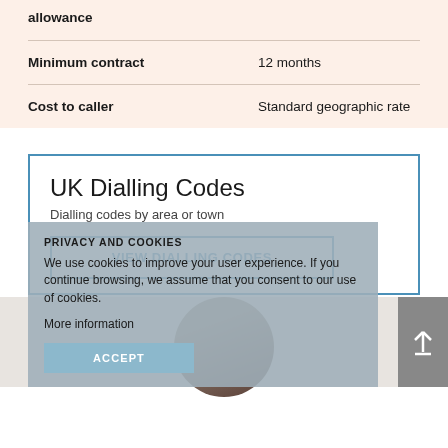| Field | Value |
| --- | --- |
| allowance |  |
| Minimum contract | 12 months |
| Cost to caller | Standard geographic rate |
UK Dialling Codes
Dialling codes by area or town
VIEW DIALLING CODES
PRIVACY AND COOKIES
We use cookies to improve your user experience. If you continue browsing, we assume that you consent to our use of cookies.
More information
ACCEPT